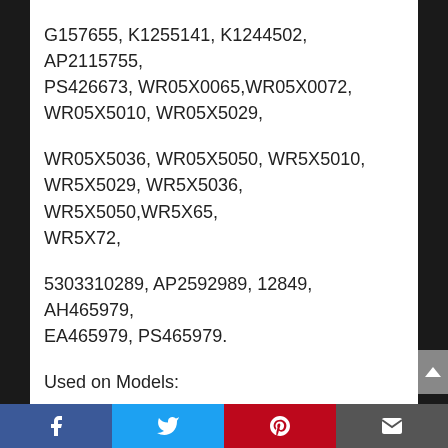G157655, K1255141, K1244502, AP2115755, PS426673, WR05X0065, WR05X0072, WR05X5010, WR05X5029,
WR05X5036, WR05X5050, WR5X5010, WR5X5029, WR5X5036, WR5X5050, WR5X65, WR5X72,
5303310289, AP2592989, 12849, AH465979, EA465979, PS465979.
Used on Models:
KENMORE 253.16082102 KENMORE 253.16082103 KENMORE 253.16082104